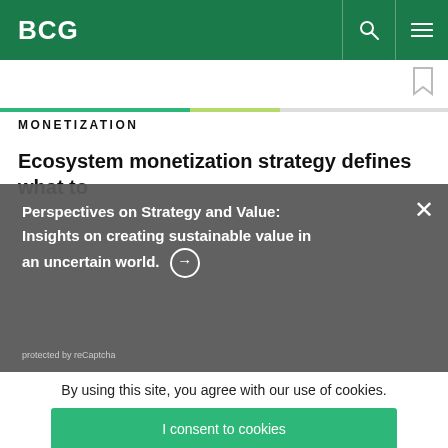BCG
MONETIZATION
Ecosystem monetization strategy defines what to
Perspectives on Strategy and Value: Insights on creating sustainable value in an uncertain world. →
protected by reCaptcha
By using this site, you agree with our use of cookies.
I consent to cookies
Want to know more?
Read our Cookie Policy